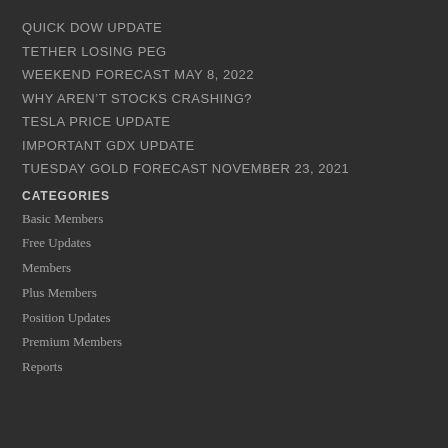QUICK DOW UPDATE
TETHER LOSING PEG
WEEKEND FORECAST MAY 8, 2022
WHY AREN'T STOCKS CRASHING?
TESLA PRICE UPDATE
IMPORTANT GDX UPDATE
TUESDAY GOLD FORECAST NOVEMBER 23, 2021
CATEGORIES
Basic Members
Free Updates
Members
Plus Members
Position Updates
Premium Members
Reports